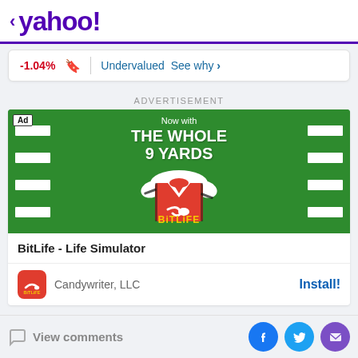< yahoo!
-1.04%   Undervalued  See why >
ADVERTISEMENT
[Figure (illustration): BitLife - Life Simulator advertisement showing a red and white football jersey on a green football field background with text 'Now with THE WHOLE 9 YARDS']
BitLife - Life Simulator
Candywriter, LLC    Install!
View comments